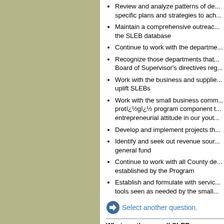Review and analyze patterns of de... specific plans and strategies to ach...
Maintain a comprehensive outreach... the SLEB database
Continue to work with the departme...
Recognize those departments that... Board of Supervisor's directives reg...
Work with the business and supplie... uplift SLEBs
Work with the small business comm... protï¿½gï¿½ program component t... entrepreneurial attitude in our yout...
Develop and implement projects th...
Identify and seek out revenue sour... general fund
Continue to work with all County de... established by the Program
Establish and formulate with servic... tools seen as needed by the small...
Select another question.
What are the overall SLEB program goals...
Achieve a minimum of 20% SLEB...